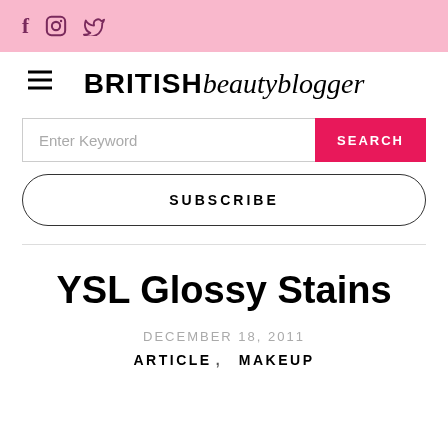Social media icons: f (Facebook), Instagram, Twitter
BRITISH beautyblogger
Enter Keyword   SEARCH
SUBSCRIBE
YSL Glossy Stains
DECEMBER 18, 2011
ARTICLE,  MAKEUP